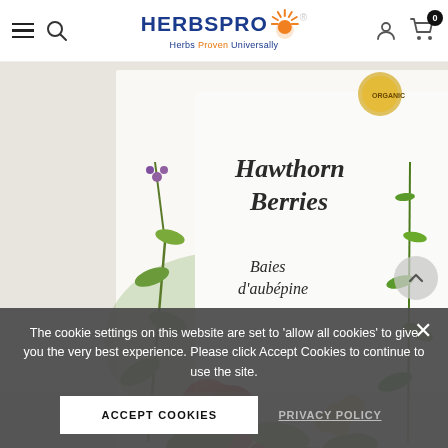HerbsPro - Herbs Proven Universally
[Figure (photo): Product photo of Hawthorn Berries / Baies d'aubépine herbal tea packaging with botanical illustrations of red flowers and yellow flowers on green background]
The cookie settings on this website are set to 'allow all cookies' to give you the very best experience. Please click Accept Cookies to continue to use the site.
ACCEPT COOKIES
PRIVACY POLICY